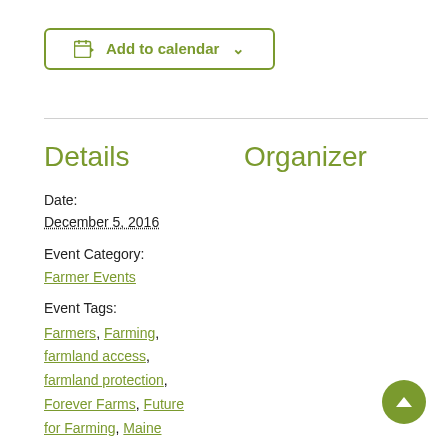[Figure (other): Add to calendar button with calendar icon and dropdown arrow, styled with olive/green border]
Details
Organizer
Date:
December 5, 2016
Event Category:
Farmer Events
Event Tags:
Farmers, Farming, farmland access, farmland protection, Forever Farms, Future for Farming, Maine